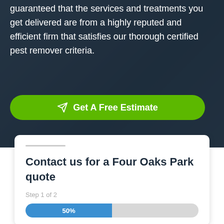guaranteed that the services and treatments you get delivered are from a highly reputed and efficient firm that satisfies our thorough certified pest remover criteria.
Get A Free Estimate
Contact us for a Four Oaks Park quote
Step 1 of 2
[Figure (infographic): Progress bar showing 50% completion, blue fill on left half, grey on right half]